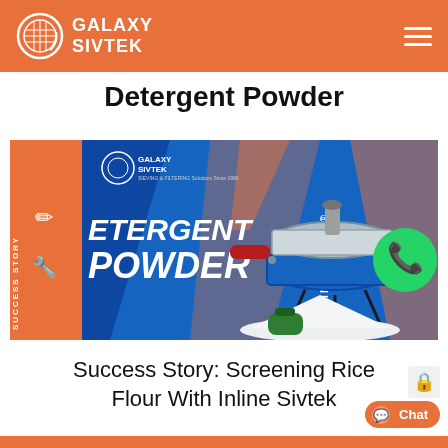GALAXY SIVTEK
Detergent Powder
[Figure (photo): Galaxy Sivtek promotional banner for Detergent Powder featuring an Inline Sivtek vibratory sieve machine (stainless steel circular sieve on blue stand), a pile of white detergent powder with a green scoop, WhatsApp icon, and text reading DETERGENT POWDER INLINE SIVTEK SUCCESS STORY on a blue and orange background.]
Success Story: Screening Rice Flour With Inline Sivtek